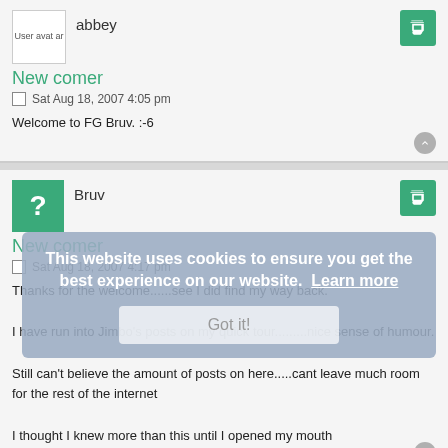[Figure (photo): User avatar placeholder image for user 'abbey']
abbey
New comer
Sat Aug 18, 2007 4:05 pm
Welcome to FG Bruv. :-6
[Figure (illustration): Green question mark avatar for user 'Bruv']
Bruv
New comer
Sat Aug 18, 2007 4:17 pm
Thanks for the welcome......see I did find my way back.
I have run into Jimbo's posts on my quick tour.........nice sense of humour.
Still can't believe the amount of posts on here.....cant leave much room for the rest of the internet
I thought I knew more than this until I opened my mouth